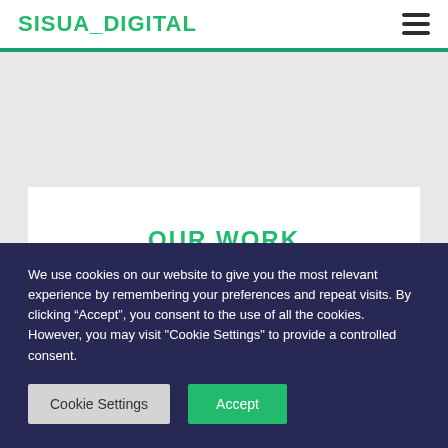SISUA_DIGITAL
OUR WORK
We use cookies on our website to give you the most relevant experience by remembering your preferences and repeat visits. By clicking “Accept”, you consent to the use of all the cookies. However, you may visit "Cookie Settings" to provide a controlled consent.
Cookie Settings | Accept